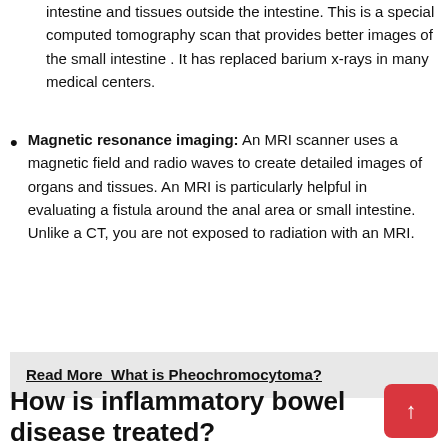intestine and tissues outside the intestine. This is a special computed tomography scan that provides better images of the small intestine . It has replaced barium x-rays in many medical centers.
Magnetic resonance imaging: An MRI scanner uses a magnetic field and radio waves to create detailed images of organs and tissues. An MRI is particularly helpful in evaluating a fistula around the anal area or small intestine. Unlike a CT, you are not exposed to radiation with an MRI.
Read More  What is Pheochromocytoma?
How is inflammatory bowel disease treated?